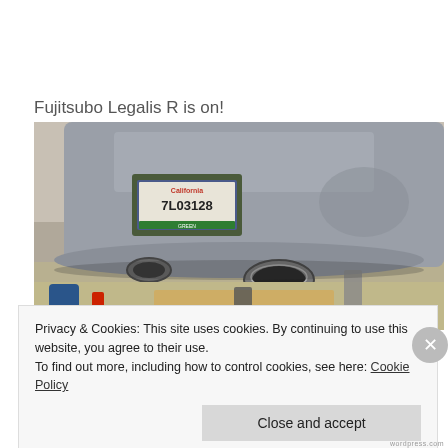Fujitsubo Legalis R is on!
[Figure (photo): Rear underside of a silver car on a lift in a garage, showing the exhaust tips of a Fujitsubo Legalis R exhaust system. A California license plate reading 7L03128 is visible. Tools and equipment are on the garage floor below.]
Privacy & Cookies: This site uses cookies. By continuing to use this website, you agree to their use.
To find out more, including how to control cookies, see here: Cookie Policy
Close and accept